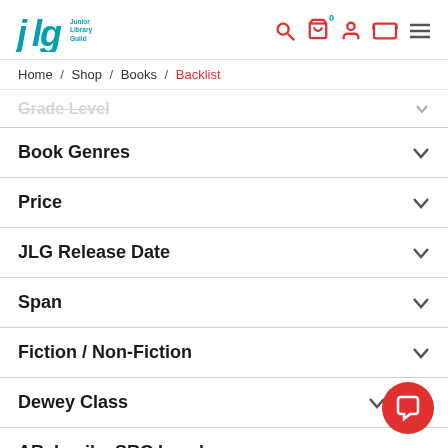Junior Library Guild — navigation header with logo and icons
Home / Shop / Books / Backlist
Grade Level
Book Genres
Price
JLG Release Date
Span
Fiction / Non-Fiction
Dewey Class
AR, Lexile, SRC Level